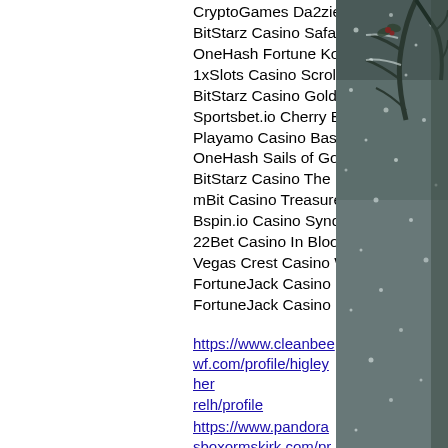CryptoGames Da2zie Me
BitStarz Casino Safari
OneHash Fortune Koi
1xSlots Casino Scrolls of RA
BitStarz Casino Gold Trophy 2
Sportsbet.io Cherry Blossoms
Playamo Casino Basketball
OneHash Sails of Gold
BitStarz Casino The Emperors Tomb
mBit Casino Treasure Island
Bspin.io Casino Syndicate
22Bet Casino In Bloom
Vegas Crest Casino Wild Girls
FortuneJack Casino Excalibur
FortuneJack Casino Extra Cash
https://www.cleanbeewf.com/profile/higleyherrelh/profile
https://www.pandorasboxormskirk.com/profile/edgmonvergeg/profile
https://www.stpaulalbaniancatholicchurch.org/profile/carpentilev8/profile
[Figure (photo): Snowy winter scene with tree branches covered in snow against a dark grey sky, on the right side of the page]